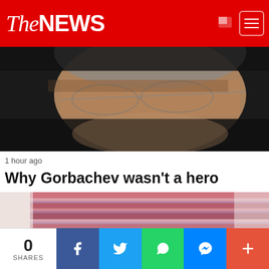The NEWS
[Figure (photo): Close-up photo of an elderly man with glasses peering over the frames, dark background]
1 hour ago
Why Gorbachev wasn't a hero
[Figure (photo): Close-up photo of stacked striped fabric or currency notes, pink and purple tones]
0 SHARES